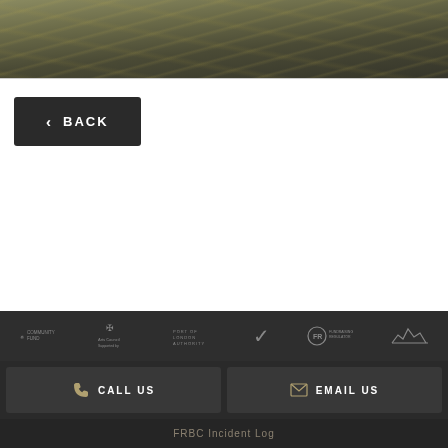[Figure (photo): Water surface with reflections of lights, dark river water photograph]
< BACK
[Figure (logo): Row of partner/accreditation logos: Community Fund, Arts Council / britannia, Port of London Authority, quality mark checkmark, FR Fundraising Regulator, and one more logo]
CALL US
EMAIL US
FRBC Incident Log